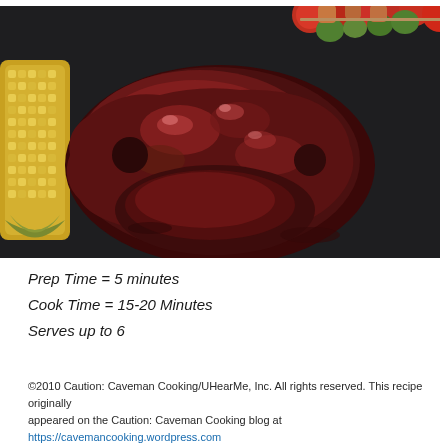[Figure (photo): Close-up photo of BBQ chicken pieces glazed with dark red barbecue sauce, served on a dark plate alongside corn on the cob and vegetable skewers with tomatoes and peppers in the background.]
Prep Time = 5 minutes
Cook Time = 15-20 Minutes
Serves up to 6
©2010 Caution: Caveman Cooking/UHearMe, Inc. All rights reserved. This recipe originally appeared on the Caution: Caveman Cooking blog at https://cavemancooking.wordpress.com